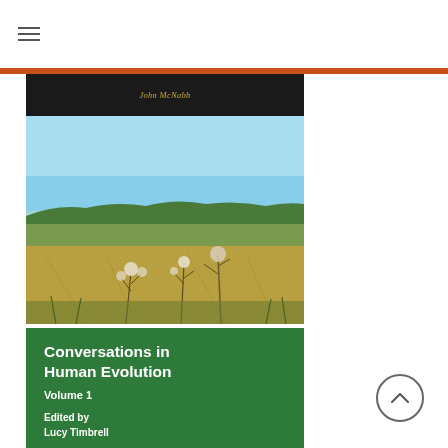☰ (hamburger menu icon)
[Figure (photo): Book cover showing a rural landscape with a wheat/grass field in the foreground, a hillside with trees in the background, and a clear blue sky. The top portion of the cover has a dark/black band. Below the landscape is a green section with white text.]
Conversations in Human Evolution
Volume 1
Edited by
Lucy Timbrell